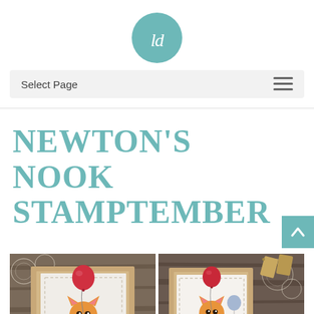[Figure (logo): Circular teal logo with white cursive 'ld' letters]
Select Page
NEWTON'S NOOK STAMPTEMBER
[Figure (photo): Two handmade greeting cards featuring an orange tiger cat holding a red balloon, photographed on a rustic wooden surface with lace doily and kraft paper tags]